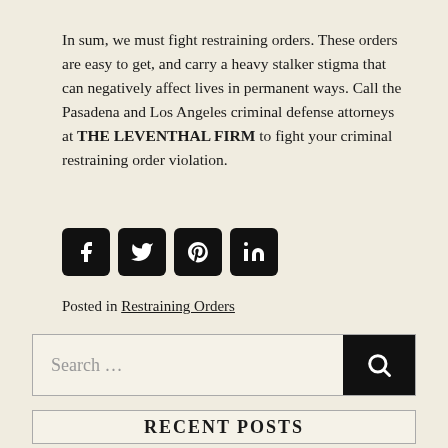In sum, we must fight restraining orders. These orders are easy to get, and carry a heavy stalker stigma that can negatively affect lives in permanent ways. Call the Pasadena and Los Angeles criminal defense attorneys at THE LEVENTHAL FIRM to fight your criminal restraining order violation.
[Figure (infographic): Four social media icon buttons: Facebook, Twitter, Pinterest, LinkedIn — black rounded square icons]
Posted in Restraining Orders
Search …
RECENT POSTS